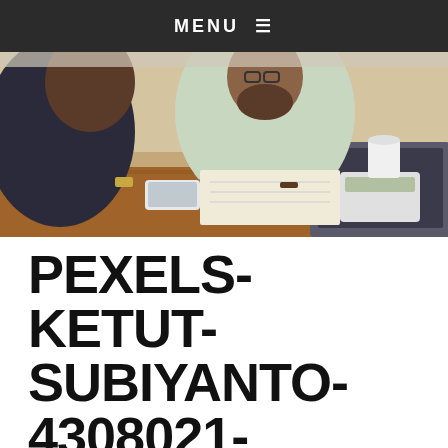MENU ≡
[Figure (photo): Two people sitting at a wooden table. A bearded man in a light green shirt uses a calculator and writes in a notebook. A woman beside him has her arm around him. A laptop and smartphone are on the table. A coffee mug is in the background.]
PEXELS-KETUT-SUBIYANTO-4308021-SCALED.JPEG